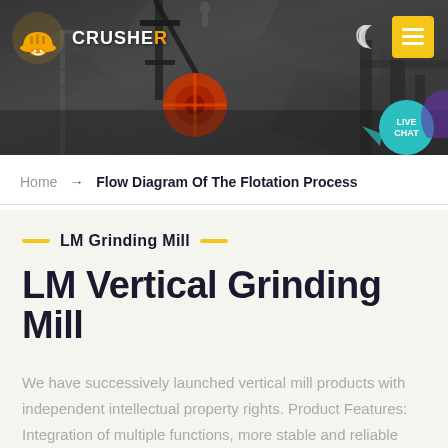[Figure (photo): Website header showing industrial crusher machinery with dark rock/stone background. Logo with orange icon and CRUSHER text top left. Moon icon and yellow hamburger menu button top right. Teal circular Live Chat bubble bottom right of header.]
Home → Flow Diagram Of The Flotation Process
LM Grinding Mill
LM Vertical Grinding Mill
We have successively launched vertical mill products with independent intellectual property rights. Product Features: Integration of multiple functions, more stable and reliable production and more excellent capacity